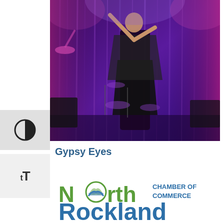[Figure (photo): Concert photo showing a performer on stage in a dark outfit with purple/blue stage lighting and curtains in the background, drums visible behind the performer]
Gypsy Eyes
[Figure (logo): North Rockland Chamber of Commerce logo with green 'North' text and blue 'Rockland' text, with a circular emblem containing mountain/wave imagery inside the letter 'o' of North]